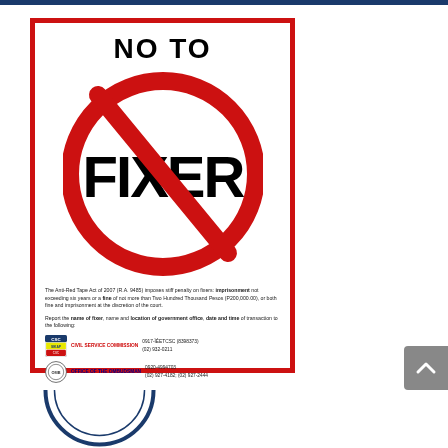[Figure (infographic): Anti-fixer government poster with 'NO TO FIXER' text, a red prohibition circle over the word FIXER, and contact details for Civil Service Commission and Office of the Ombudsman. References Anti-Red Tape Act of 2007 (R.A. 9485).]
[Figure (illustration): Partial circular stamp reading 'FREEDOM OF INFORMATION' (partially visible at bottom of page)]